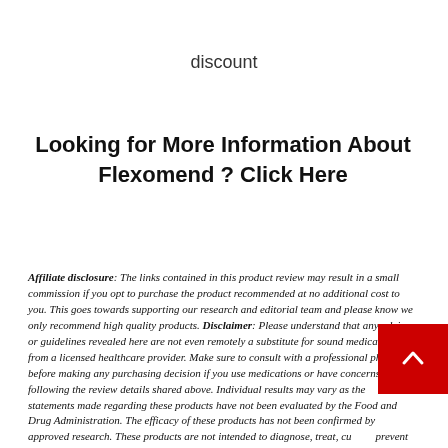discount
Looking for More Information About Flexomend ? Click Here
Affiliate disclosure: The links contained in this product review may result in a small commission if you opt to purchase the product recommended at no additional cost to you. This goes towards supporting our research and editorial team and please know we only recommend high quality products. Disclaimer: Please understand that any advice or guidelines revealed here are not even remotely a substitute for sound medical advice from a licensed healthcare provider. Make sure to consult with a professional physician before making any purchasing decision if you use medications or have concerns following the review details shared above. Individual results may vary as the statements made regarding these products have not been evaluated by the Food and Drug Administration. The efficacy of these products has not been confirmed by approved research. These products are not intended to diagnose, treat, cure or prevent any disease.